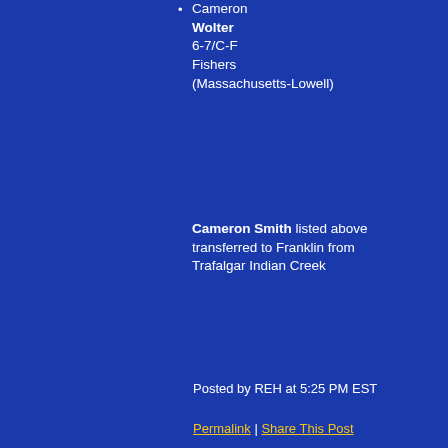Cameron Wolter 6-7/C-F Fishers (Massachusetts-Lowell)
Cameron Smith listed above transferred to Franklin from Trafalgar Indian Creek
Posted by REH at 5:25 PM EST
Permalink | Share This Post
Rick Bolus Blog
Topic: Basketball
UPDATES FOR KENTUCKY GIRLS